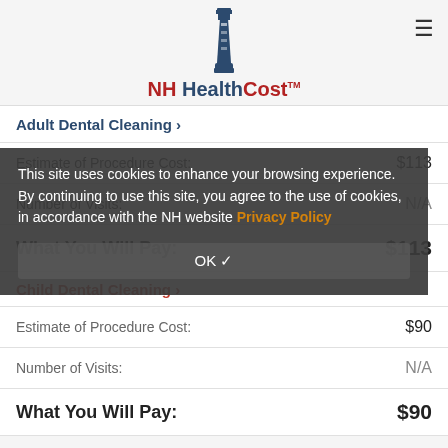NH HealthCost
Adult Dental Cleaning >
Estimate of Procedure Cost: $113
Number of Visits: N/A
What You Will Pay: $113
This site uses cookies to enhance your browsing experience. By continuing to use this site, you agree to the use of cookies, in accordance with the NH website Privacy Policy
Child Dental Cleaning >
Estimate of Procedure Cost: $90
Number of Visits: N/A
What You Will Pay: $90